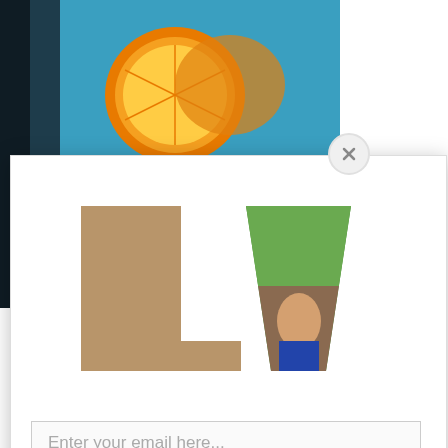[Figure (photo): Background page showing a drink photo with sliced orange on blue background, partially obscured by a modal overlay]
Orange XXplosion, serv... Rapids. — via the busine...
3. Clock Hou...
Off of Cedar Rive... 000 1 A St SE G...
[Figure (screenshot): Modal popup with close X button, LV logo letters filled with photo of musicians, email input field, and green SUBSCRIBE button]
Enter your email here...
SUBSCRIBE